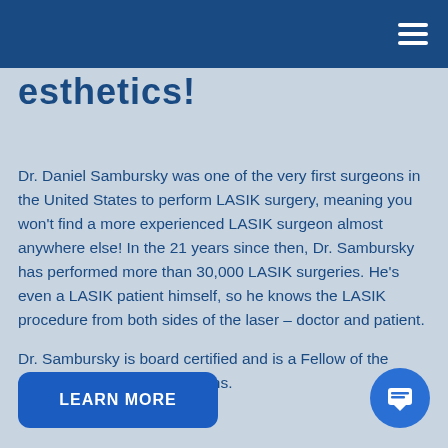esthetics!
Dr. Daniel Sambursky was one of the very first surgeons in the United States to perform LASIK surgery, meaning you won't find a more experienced LASIK surgeon almost anywhere else! In the 21 years since then, Dr. Sambursky has performed more than 30,000 LASIK surgeries. He's even a LASIK patient himself, so he knows the LASIK procedure from both sides of the laser – doctor and patient.
Dr. Sambursky is board certified and is a Fellow of the American College of Surgeons.
LEARN MORE